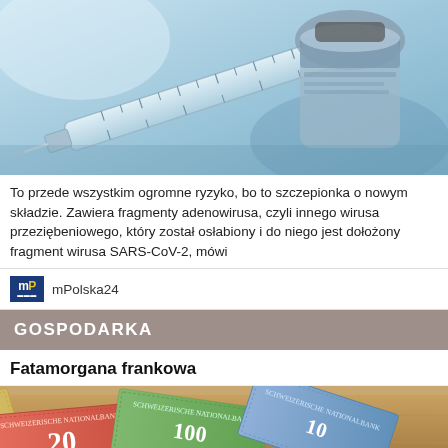[Figure (photo): Close-up photo of a medical syringe with vials in the background, blue-tinted clinical setting]
To przede wszystkim ogromne ryzyko, bo to szczepionka o nowym składzie. Zawiera fragmenty adenowirusa, czyli innego wirusa przeziębeniowego, który został osłabiony i do niego jest dołożony fragment wirusa SARS-CoV-2, mówi
mPolska24
GOSPODARKA
Fatamorgana frankowa
[Figure (photo): Photo of Swiss franc banknotes spread on a wooden surface, showing 20 franc notes prominently]